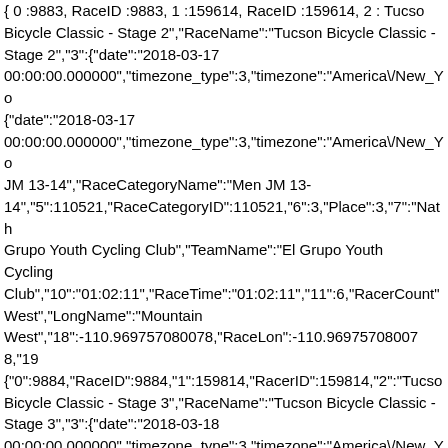{ 0 :9883, RaceID :9883, 1 :159614, RaceID :159614, 2 : Tucson Bicycle Classic - Stage 2 , RaceName : Tucson Bicycle Classic - Stage 2 , 3 :{ date : 2018-03-17 00:00:00.000000 , timezone_type :3, timezone : America\/New_Yo { date : 2018-03-17 00:00:00.000000 , timezone_type :3, timezone : America\/New_Yo JM 13-14 , RaceCategoryName : Men JM 13-14 , 5 :110521, RaceCategoryID :110521, 6 :3, Place :3, 7 : Nath Grupo Youth Cycling Club , TeamName : El Grupo Youth Cycling Club , 10 : 01:02:11 , RaceTime : 01:02:11 , 11 :6, RacerCount West , LongName : Mountain West , 18 :-110.969757080078, RaceLon :-110.969757080078, 19 { 0 :9884, RaceID :9884, 1 :159814, RacerID :159814, 2 : Tucson Bicycle Classic - Stage 3 , RaceName : Tucson Bicycle Classic - Stage 3 , 3 :{ date : 2018-03-18 00:00:00.000000 , timezone_type :3, timezone : America\/New_Yo { date : 2018-03-18 00:00:00.000000 , timezone_type :3, timezone : America\/New_Yo JM 13-14 , RaceCategoryName : Men JM 13-14 , 5 :110499, RaceCategoryID :110499, 6 :1, Place :1, 7 : Nath Grupo Youth Cycling Club , TeamName : El Grupo Youth Cycling Club , 10 : 00:53:43 , RaceTime : 00:53:43 , 11 :6, RacerCount West , LongName : Mountain West , 18 :-110.969757080078, RaceLon :-110.969757080078, 19